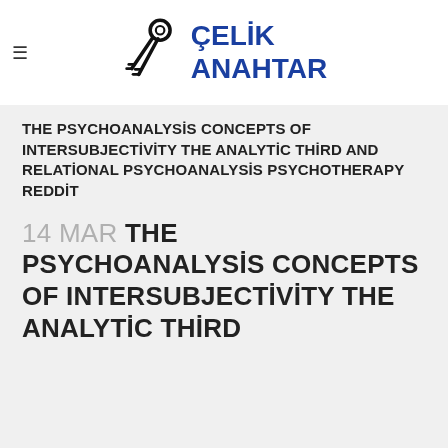[Figure (logo): ÇELİK ANAHTAR logo with keys icon — black key illustration on left, bold blue text 'ÇELİK ANAHTAR' on right]
THE PSYCHOANALYSİS CONCEPTS OF INTERSUBJECTİVİTY THE ANALYTİC THİRD AND RELATİONAL PSYCHOANALYSİS PSYCHOTHERAPY REDDİT
14 MAR THE PSYCHOANALYSİS CONCEPTS OF INTERSUBJECTİVİTY THE ANALYTİC THİRD